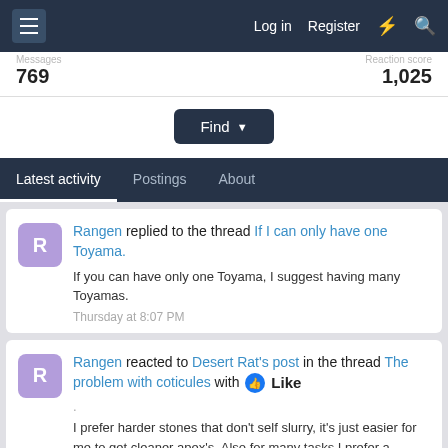Log in  Register
769   1,025
Find
Latest activity  Postings  About
Rangen replied to the thread If I can only have one Toyama. If you can have only one Toyama, I suggest having many Toyamas. Thursday at 8:07 PM
Rangen reacted to Desert Rat's post in the thread The problem with coticules with Like . I prefer harder stones that don't self slurry, it's just easier for me to get cleaner apex's. Also for many tasks I prefer a